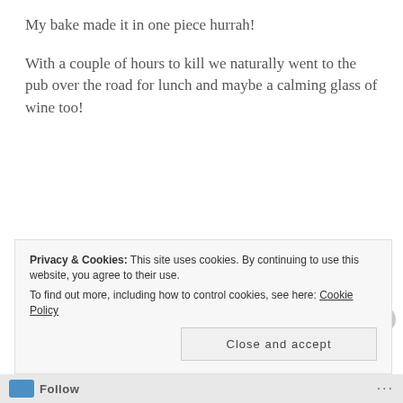My bake made it in one piece hurrah!
With a couple of hours to kill we naturally went to the pub over the road for lunch and maybe a calming glass of wine too!
[Figure (photo): Interior of a pub showing wooden paneling, arched windows with white glass panels, and warm amber lighting with views of green foliage outside]
Privacy & Cookies: This site uses cookies. By continuing to use this website, you agree to their use.
To find out more, including how to control cookies, see here: Cookie Policy
Close and accept
Follow